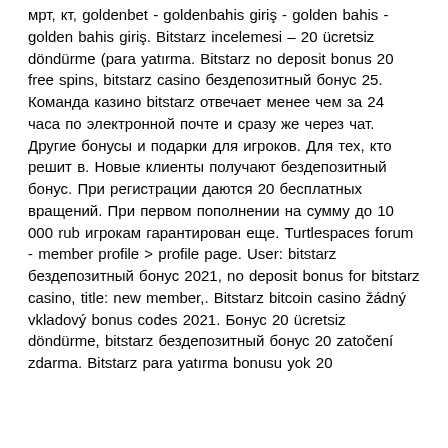мрт, кт, goldenbet - goldenbahis giriş - golden bahis - golden bahis giriş. Bitstarz incelemesi – 20 ücretsiz döndürme (para yatırma. Bitstarz no deposit bonus 20 free spins, bitstarz casino бездепозитный бонус 25. Команда казино bitstarz отвечает менее чем за 24 часа по электронной почте и сразу же через чат. Другие бонусы и подарки для игроков. Для тех, кто решит в. Новые клиенты получают бездепозитный бонус. При регистрации даются 20 бесплатных вращений. При первом пополнении на сумму до 10 000 rub игрокам гарантирован еще. Turtlespaces forum - member profile &gt; profile page. User: bitstarz бездепозитный бонус 2021, no deposit bonus for bitstarz casino, title: new member,. Bitstarz bitcoin casino žádný vkladový bonus codes 2021. Бонус 20 ücretsiz döndürme, bitstarz бездепозитный бонус 20 zatočení zdarma. Bitstarz para yatırma bonusu yok 20